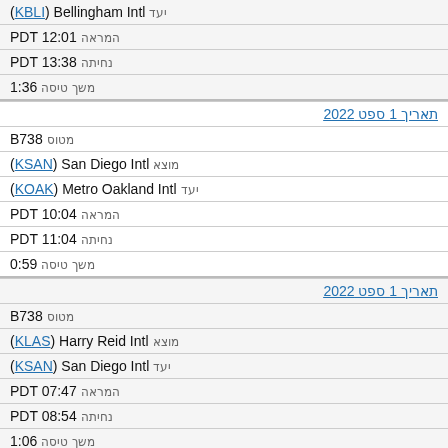(KBLI) Bellingham Intl יעד
המראה PDT 12:01
נחיתה PDT 13:38
משך טיסה 1:36
תאריך 1 ספט 2022
מטוס B738
מוצא (KSAN) San Diego Intl
יעד (KOAK) Metro Oakland Intl
המראה PDT 10:04
נחיתה PDT 11:04
משך טיסה 0:59
תאריך 1 ספט 2022
מטוס B738
מוצא (KLAS) Harry Reid Intl
יעד (KSAN) San Diego Intl
המראה PDT 07:47
נחיתה PDT 08:54
משך טיסה 1:06
תאריך 1 ספט 2022
מטוס B738
מוצא (KSTL) נמל התעופה הבינלאומי למרכון-סנו לואום